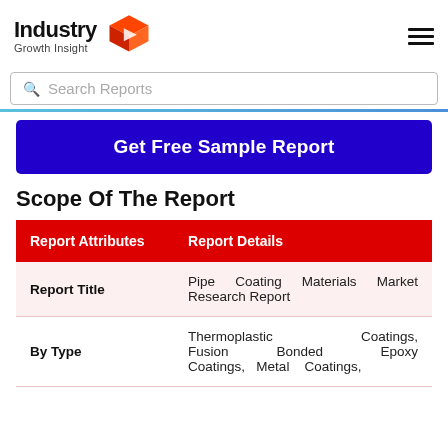Industry Growth Insight
Search Reports
Get Free Sample Report
Scope Of The Report
| Report Attributes | Report Details |
| --- | --- |
| Report Title | Pipe Coating Materials Market Research Report |
| By Type | Thermoplastic Coatings, Fusion Bonded Epoxy Coatings, Metal Coatings, |